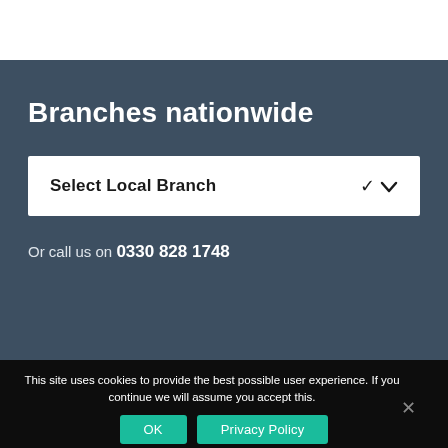Branches nationwide
Select Local Branch
Or call us on 0330 828 1748
This site uses cookies to provide the best possible user experience. If you continue we will assume you accept this.